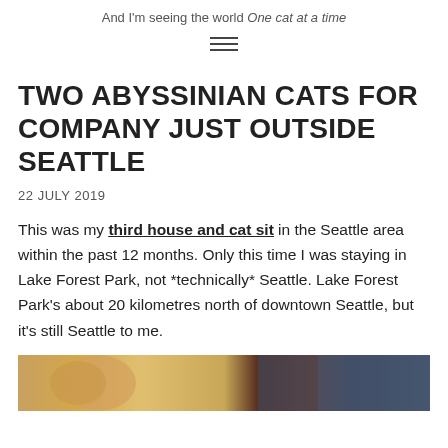And I'm seeing the world One cat at a time
TWO ABYSSINIAN CATS FOR COMPANY JUST OUTSIDE SEATTLE
22 JULY 2019
This was my third house and cat sit in the Seattle area within the past 12 months. Only this time I was staying in Lake Forest Park, not *technically* Seattle. Lake Forest Park's about 20 kilometres north of downtown Seattle, but it's still Seattle to me.
[Figure (photo): Partial view of two cats, cropped at bottom of page]